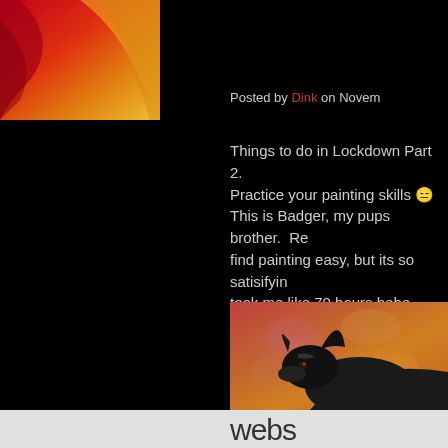[Figure (photo): Thumbnail image of a painting with red and orange/yellow tones, partially cropped at top]
Posted by Dink on Novem...
Things to do in Lockdown Part 2. Practice your painting skills 😑 This is Badger, my pups brother.  Re... find painting easy, but its so satisifying... took me like 70 hours hehe.
[Figure (photo): Close-up painting of a black dog (Badger) against a warm red/orange textured background]
webs